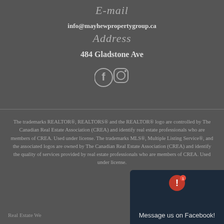E-mail
info@mayhewpropertygroup.ca
Address
484 Gladstone Ave
[Figure (illustration): Facebook and Instagram social media icons]
The trademarks REALTOR®, REALTORS® and the REALTOR® logo are controlled by The Canadian Real Estate Association (CREA) and identify real estate professionals who are members of CREA. Used under license. The trademarks MLS®, Multiple Listing Service®, and the associated logos are owned by The Canadian Real Estate Association (CREA) and identify the quality of services provided by real estate professionals who are members of CREA. Used under license.
Real Estate We...
[Figure (screenshot): Facebook Messenger chat popup with 'Message us on Facebook!' text and notification badge]